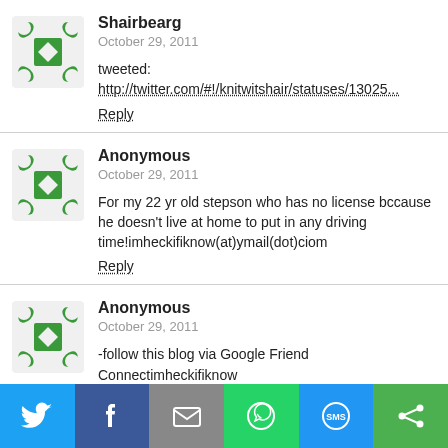[Figure (other): Green mosaic/knot avatar for Shairbearg]
Shairbearg
October 29, 2011
tweeted:
http://twitter.com/#!/knitwitshair/statuses/13025...
Reply
[Figure (other): Green mosaic/knot avatar for Anonymous]
Anonymous
October 29, 2011
For my 22 yr old stepson who has no license bccause he doesn't live at home to put in any driving time!imheckifiknow(at)ymail(dot)ciom
Reply
[Figure (other): Green mosaic/knot avatar for Anonymous]
Anonymous
October 29, 2011
-follow this blog via Google Friend Connectimheckifiknow
[Figure (infographic): Social share toolbar with Twitter, Facebook, Email, WhatsApp, SMS, and another share button icons]